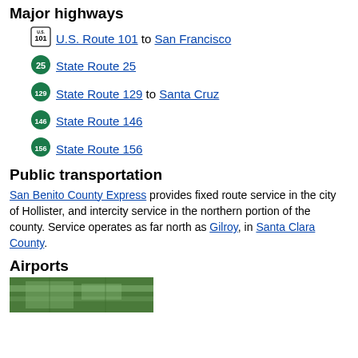Major highways
U.S. Route 101 to San Francisco
State Route 25
State Route 129 to Santa Cruz
State Route 146
State Route 156
Public transportation
San Benito County Express provides fixed route service in the city of Hollister, and intercity service in the northern portion of the county. Service operates as far north as Gilroy, in Santa Clara County.
Airports
[Figure (photo): Aerial photograph of airport/airfield]